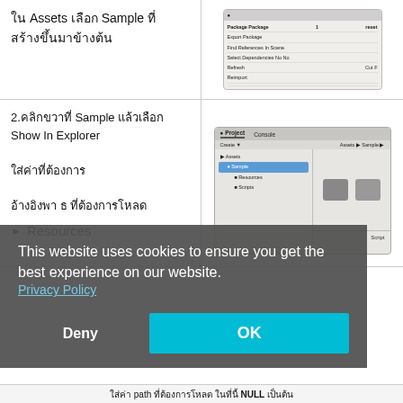ใน Assets เลือก Sample ที่ สร้างขึ้นมาข้างต้น
[Figure (screenshot): macOS-style context menu showing Package options including Export Package, Find References In Scene, Select Dependencies, Refresh, and Reimport]
2.คลิกขวาที่ Sample แล้วเลือก Show In Explorer
Resources
[Figure (screenshot): Unity Project panel showing Assets > Sample folder selected in tree, with Resources and Scripts subfolders]
This website uses cookies to ensure you get the best experience on our website.
Privacy Policy
Deny
OK
ใส่ค่า path ที่ต้องการโหลด ในที่นี้ NULL เป็นต้น